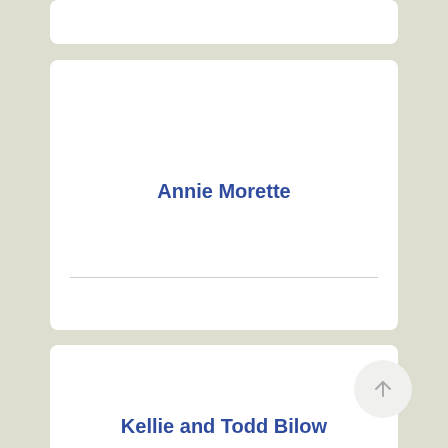Annie Morette
Kellie and Todd Bilow